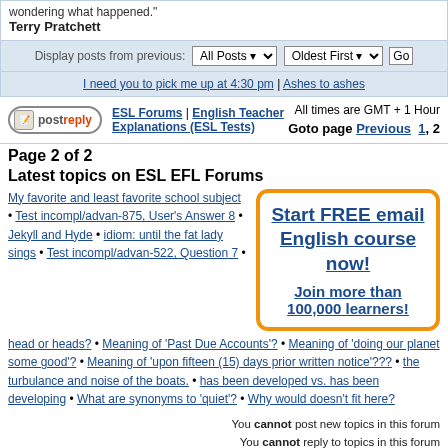wondering what happened."
Terry Pratchett
Display posts from previous: All Posts | Oldest First | Go
I need you to pick me up at 4:30 pm | Ashes to ashes
ESL Forums | English Teacher Explanations (ESL Tests) | All times are GMT + 1 Hour | Goto page Previous 1, 2
Page 2 of 2
Latest topics on ESL EFL Forums
My favorite and least favorite school subject • Test incompl/advan-875, User's Answer 8 • Jekyll and Hyde • idiom: until the fat lady sings • Test incompl/advan-522, Question 7 •
[Figure (other): Advertisement box with orange border: Start FREE email English course now! Join more than 100,000 learners!]
head or heads? • Meaning of 'Past Due Accounts'? • Meaning of 'doing our planet some good'? • Meaning of 'upon fifteen (15) days prior written notice'??? • the turbulance and noise of the boats. • has been developed vs. has been developing • What are synonyms to 'quiet'? • Why would doesn't fit here?
You cannot post new topics in this forum
You cannot reply to topics in this forum
You cannot edit your posts in this forum